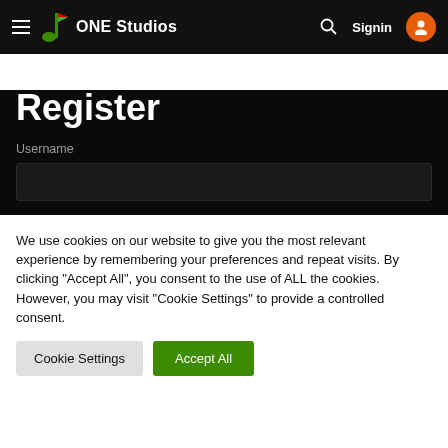ONE Studios — navigation bar with hamburger menu, logo, search icon, Signin, and user avatar
Register
Username
We use cookies on our website to give you the most relevant experience by remembering your preferences and repeat visits. By clicking "Accept All", you consent to the use of ALL the cookies. However, you may visit "Cookie Settings" to provide a controlled consent.
Cookie Settings | Accept All